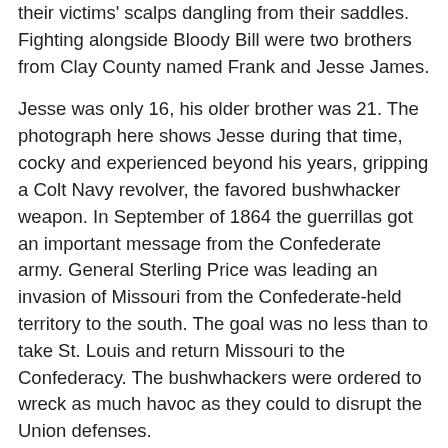their victims' scalps dangling from their saddles. Fighting alongside Bloody Bill were two brothers from Clay County named Frank and Jesse James.
Jesse was only 16, his older brother was 21. The photograph here shows Jesse during that time, cocky and experienced beyond his years, gripping a Colt Navy revolver, the favored bushwhacker weapon. In September of 1864 the guerrillas got an important message from the Confederate army. General Sterling Price was leading an invasion of Missouri from the Confederate-held territory to the south. The goal was no less than to take St. Louis and return Missouri to the Confederacy. The bushwhackers were ordered to wreck as much havoc as they could to disrupt the Union defenses.
%Gallery-108006%Bloody Bill received the order while camping in Boone County near the little town of Centralia, population 100, located on the North Missouri Railroad. At dawn on September 27th, Anderson rode into town with thirty men, whooping and shooting their pistols. Anderson wanted to